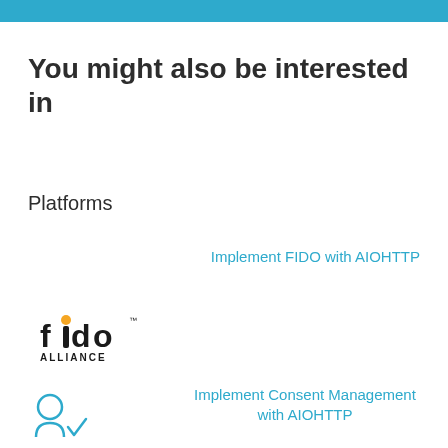You might also be interested in
Platforms
Implement FIDO with AIOHTTP
[Figure (logo): FIDO Alliance logo with stylized 'fido' text and ALLIANCE subtitle]
Implement Consent Management with AIOHTTP
[Figure (illustration): Consent management icon showing person with checkmark]